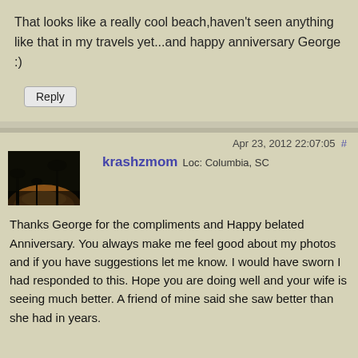That looks like a really cool beach,haven't seen anything like that in my travels yet...and happy anniversary George :)
Reply
Apr 23, 2012 22:07:05  #
[Figure (photo): Avatar thumbnail showing a dark sunset scene with silhouetted palm trees]
krashzmom Loc: Columbia, SC
Thanks George for the compliments and Happy belated Anniversary. You always make me feel good about my photos and if you have suggestions let me know. I would have sworn I had responded to this. Hope you are doing well and your wife is seeing much better. A friend of mine said she saw better than she had in years.